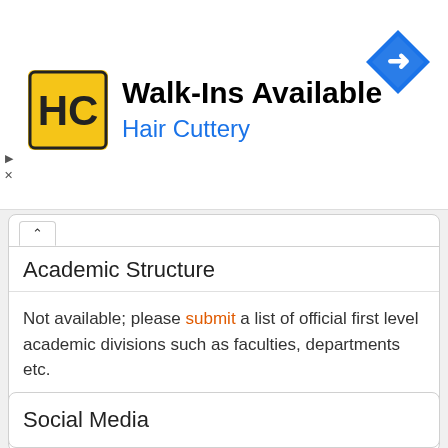[Figure (other): Hair Cuttery advertisement banner with logo, 'Walk-Ins Available' heading, 'Hair Cuttery' subheading in blue, and a blue direction arrow icon.]
Academic Structure
Not available; please submit a list of official first level academic divisions such as faculties, departments etc.
Tip: search for Central Methodist University's faculties or academic divisions with the uniRank Search Engine
Social Media